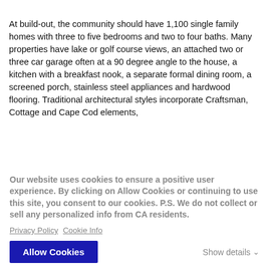At build-out, the community should have 1,100 single family homes with three to five bedrooms and two to four baths. Many properties have lake or golf course views, an attached two or three car garage often at a 90 degree angle to the house, a kitchen with a breakfast nook, a separate formal dining room, a screened porch, stainless steel appliances and hardwood flooring. Traditional architectural styles incorporate Craftsman, Cottage and Cape Cod elements,
Our website uses cookies to ensure a positive user experience. By clicking on Allow Cookies or continuing to use this site, you consent to our cookies. P.S. We do not collect or sell any personalized info from CA residents.
Privacy Policy  Cookie Info
Allow Cookies
Show details